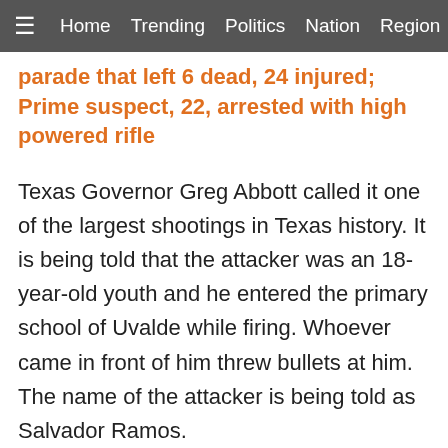≡  Home  Trending  Politics  Nation  Region  Worl
parade that left 6 dead, 24 injured; Prime suspect, 22, arrested with high powered rifle
Texas Governor Greg Abbott called it one of the largest shootings in Texas history. It is being told that the attacker was an 18-year-old youth and he entered the primary school of Uvalde while firing. Whoever came in front of him threw bullets at him. The name of the attacker is being told as Salvador Ramos.
#BREAKING When 'are we going to